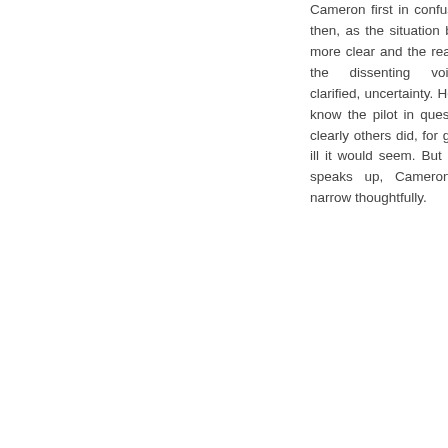Cameron first in confusion and then, as the situation becomes more clear and the reasons for the dissenting voices is clarified, uncertainty. He did not know the pilot in question, but clearly others did, for good and ill it would seem. But as Cidra speaks up, Cameron's eyes narrow thoughtfully.